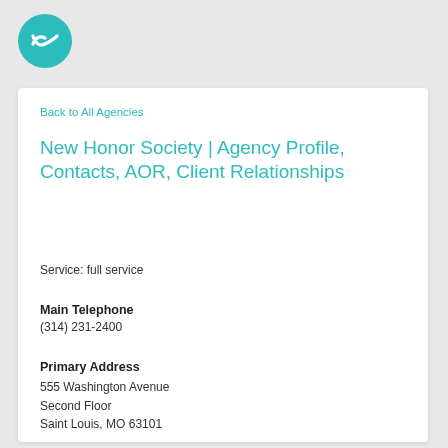[Figure (logo): Winmo teal circular logo with white wave/W icon]
Back to All Agencies
New Honor Society | Agency Profile, Contacts, AOR, Client Relationships
Service: full service
Main Telephone
(314) 231-2400
Primary Address
555 Washington Avenue
Second Floor
Saint Louis, MO 63101